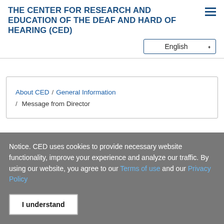THE CENTER FOR RESEARCH AND EDUCATION OF THE DEAF AND HARD OF HEARING (CED)
English (language selector)
About CED / General Information / Message from Director
Notice. CED uses cookies to provide necessary website functionality, improve your experience and analyze our traffic. By using our website, you agree to our Terms of use and our Privacy Policy
I understand